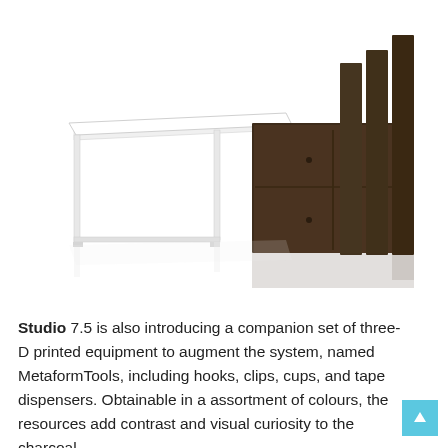[Figure (photo): A modern office desk with a white tabletop and white frame legs on the left, connected to a dark brown/espresso wooden storage unit with drawers and vertical panel dividers on the right. The desk is shown on a white background with subtle reflections.]
Studio 7.5 is also introducing a companion set of three-D printed equipment to augment the system, named MetaformTools, including hooks, clips, cups, and tape dispensers. Obtainable in a assortment of colours, the resources add contrast and visual curiosity to the charcoal